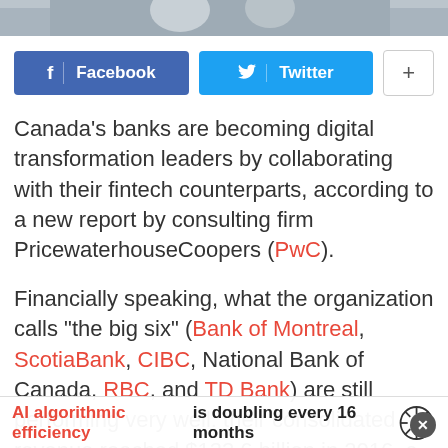[Figure (photo): Partial photo strip at top of page, appears to show people, cropped]
[Figure (infographic): Social sharing buttons: Facebook (blue), Twitter (cyan), and a plus button]
Canada’s banks are becoming digital transformation leaders by collaborating with their fintech counterparts, according to a new report by consulting firm PricewaterhouseCoopers (PwC).
Financially speaking, what the organization calls “the big six” (Bank of Montreal, ScotiaBank, CIBC, National Bank of Canada, RBC, and TD Bank) are still performing very well: their consolidated revenue reached $133.6 billion in 2016, a 8.6 per cent increase
AI algorithmic efficiency is doubling every 16 months